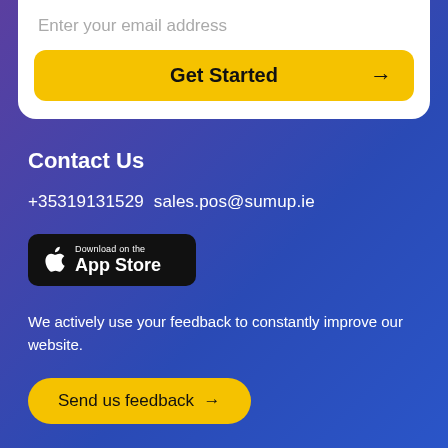Enter your email address
Get Started →
Contact Us
+35319131529  sales.pos@sumup.ie
[Figure (logo): Download on the App Store badge with Apple logo]
We actively use your feedback to constantly improve our website.
Send us feedback →